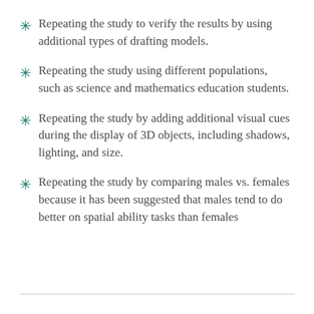Repeating the study to verify the results by using additional types of drafting models.
Repeating the study using different populations, such as science and mathematics education students.
Repeating the study by adding additional visual cues during the display of 3D objects, including shadows, lighting, and size.
Repeating the study by comparing males vs. females because it has been suggested that males tend to do better on spatial ability tasks than females